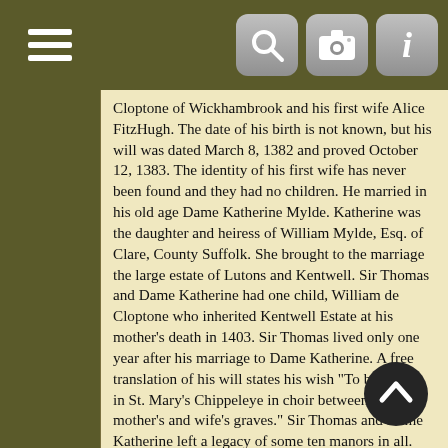Navigation bar with hamburger menu, search, camera, and info icons
Cloptone of Wickhambrook and his first wife Alice FitzHugh. The date of his birth is not known, but his will was dated March 8, 1382 and proved October 12, 1383. The identity of his first wife has never been found and they had no children. He married in his old age Dame Katherine Mylde. Katherine was the daughter and heiress of William Mylde, Esq. of Clare, County Suffolk. She brought to the marriage the large estate of Lutons and Kentwell. Sir Thomas and Dame Katherine had one child, William de Cloptone who inherited Kentwell Estate at his mother's death in 1403. Sir Thomas lived only one year after his marriage to Dame Katherine. A free translation of his will states his wish "To be buried in St. Mary's Chippeleye in choir between my mother's and wife's graves." Sir Thomas and Dame Katherine left a legacy of some ten manors in all. Among them the Manor of Toppesfield in the Town of Hadleigh; lands and tenements in Schymplyngg, Appleton; Chyppeleye (Manor of Clopton Hall or Chapperley Manor), and Poselyngworth.
The Kentwell Estate comprises half a dozen manors. The principal manorial residence was called at that time by different names and caused some confusion. The name Kentwell Hall did not become fixed until nearly 200 years after Sir